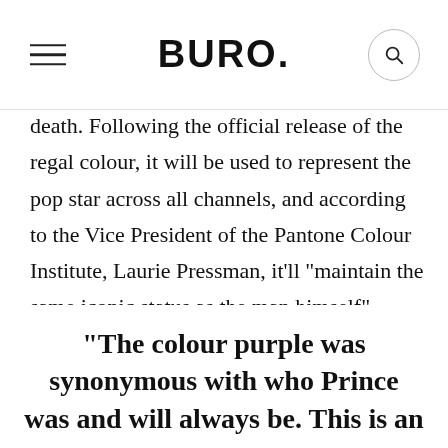BURO.
death. Following the official release of the regal colour, it will be used to represent the pop star across all channels, and according to the Vice President of the Pantone Colour Institute, Laurie Pressman, it'll "maintain the same iconic status as the man himself".
"The colour purple was synonymous with who Prince was and will always be. This is an